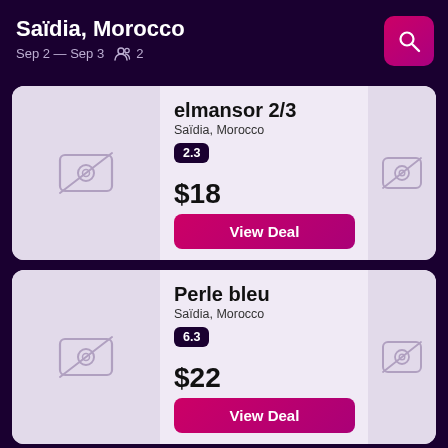Saïdia, Morocco
Sep 2 — Sep 3  👤 2
elmansor 2/3
Saïdia, Morocco
Rating: 2.3
$18
View Deal
Perle bleu
Saïdia, Morocco
Rating: 6.3
$22
View Deal